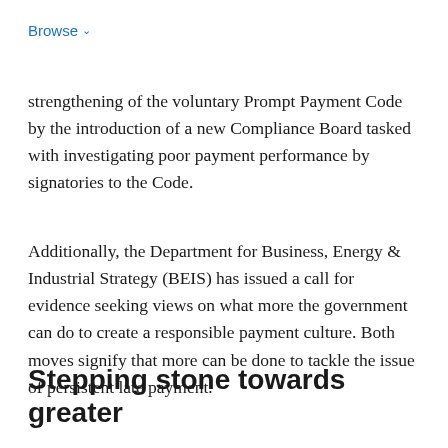Browse
strengthening of the voluntary Prompt Payment Code by the introduction of a new Compliance Board tasked with investigating poor payment performance by signatories to the Code.
Additionally, the Department for Business, Energy & Industrial Strategy (BEIS) has issued a call for evidence seeking views on what more the government can do to create a responsible payment culture. Both moves signify that more can be done to tackle the issue of persistent late payment.
Stepping stone towards greater